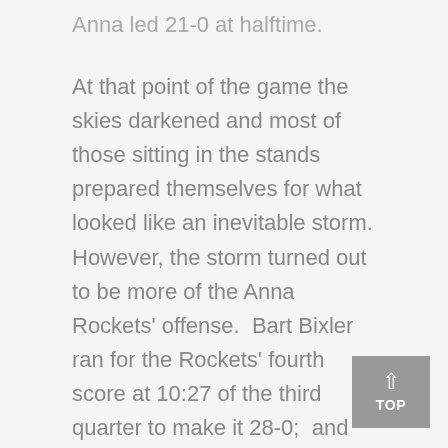Anna led 21-0 at halftime.
At that point of the game the skies darkened and most of those sitting in the stands prepared themselves for what looked like an inevitable storm. However, the storm turned out to be more of the Anna Rockets' offense.  Bart Bixler ran for the Rockets' fourth score at 10:27 of the third quarter to make it 28-0;  and then the storm – the lightning and rain – did come.
The delay lasted about an hour, but not nearly long enough for the New Bremen defense.  Bixler scored a second touchdown on a fourth down run just prior to the end of the quarter…then the Rockets wrapped things up with a pair of scores in the fourth to conclude the scoring at 45-0.